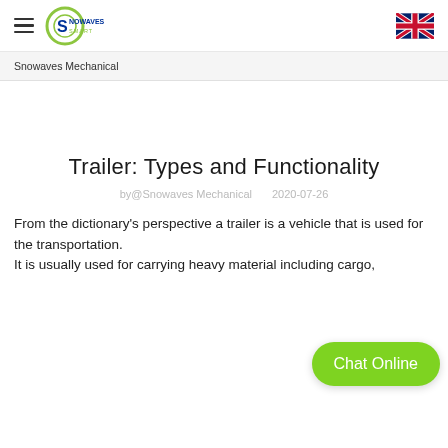Snowaves Mechanical
Snowaves Mechanical
Trailer: Types and Functionality
by @Snowaves Mechanical   2020-07-26
From the dictionary's perspective a trailer is a vehicle that is used for the transportation.
It is usually used for carrying heavy material including cargo,